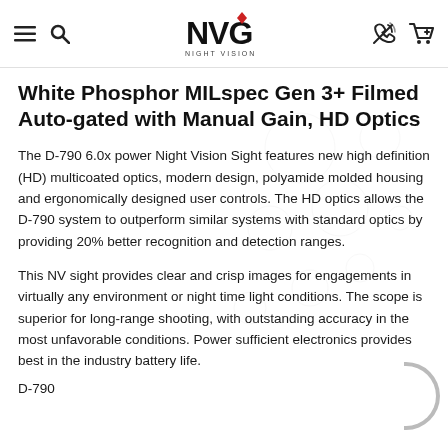NVG Night Vision Guys
White Phosphor MILspec Gen 3+ Filmed Auto-gated with Manual Gain, HD Optics
The D-790 6.0x power Night Vision Sight features new high definition (HD) multicoated optics, modern design, polyamide molded housing and ergonomically designed user controls. The HD optics allows the D-790 system to outperform similar systems with standard optics by providing 20% better recognition and detection ranges.
This NV sight provides clear and crisp images for engagements in virtually any environment or night time light conditions. The scope is superior for long-range shooting, with outstanding accuracy in the most unfavorable conditions. Power sufficient electronics provides best in the industry battery life.
D-790...